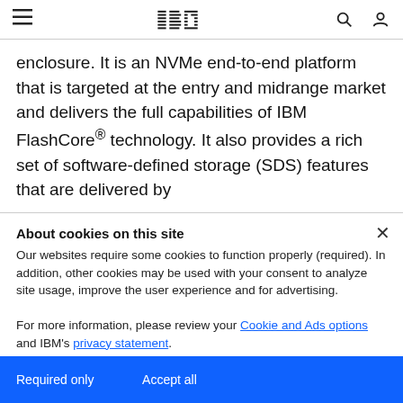IBM navigation bar with hamburger menu, IBM logo, search icon, user icon
enclosure. It is an NVMe end-to-end platform that is targeted at the entry and midrange market and delivers the full capabilities of IBM FlashCore® technology. It also provides a rich set of software-defined storage (SDS) features that are delivered by
...
About cookies on this site
Our websites require some cookies to function properly (required). In addition, other cookies may be used with your consent to analyze site usage, improve the user experience and for advertising.
For more information, please review your Cookie and Ads options and IBM's privacy statement.
IBM DS8000 Safeguarded Copy (Updated for DS8000 R9.2)
19 July 2022, Draft Redpaper
This IBM® Redpaper™ publication explains the IBM DS8000® Safeguarded Copy functions. With Safeguarded Copy, organizations have the ability to improve their cyber resiliency by frequently creating protected point-in-time backups of their critical data.
Required only   Accept all